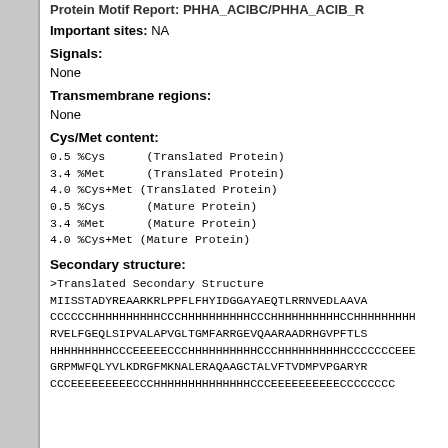Protein Motif Report: PHHA_ACIBC/PHHA_ACIB_R
Important sites: NA
Signals:
None
Transmembrane regions:
None
Cys/Met content:
0.5 %Cys      (Translated Protein)
3.4 %Met      (Translated Protein)
4.0 %Cys+Met (Translated Protein)
0.5 %Cys      (Mature Protein)
3.4 %Met      (Mature Protein)
4.0 %Cys+Met (Mature Protein)
Secondary structure:
>Translated Secondary Structure
MIISSTADYREAARKRLPPFLFHYIDGGAYAEQTLRRNVEDLAAVA
CCCCCCHHHHHHHHHHCCCHHHHHHHHHCCCHHHHHHHHHCCHHHHHHHHH
RVELFGEQLSIPVALAPVGLTGMFARRGEVQAARADRHGVPFTLS
HHHHHHHHHCCCEEEECCCHHHHHHHHHCCCHHHHHHHHHCCCCCCCEEEC
GRPMWFQLYVLKDRGFMKNALERAQAAGCTALVFTVDMPVPGARYR
CCCEEEEEEEEECCCHHHHHHHHHHHHHCCCEEEEEEEEEECCCCCCCC